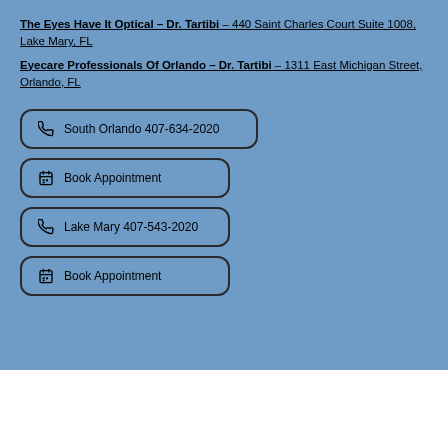The Eyes Have It Optical – Dr. Tartibi – 440 Saint Charles Court Suite 1008, Lake Mary, FL
Eyecare Professionals Of Orlando – Dr. Tartibi – 1311 East Michigan Street, Orlando, FL
South Orlando 407-634-2020
Book Appointment
Lake Mary 407-543-2020
Book Appointment
[Figure (logo): Eye logo silhouette with a stylized eye shape and blue iris, black outline]
[Figure (other): Hamburger menu icon with three horizontal bars]